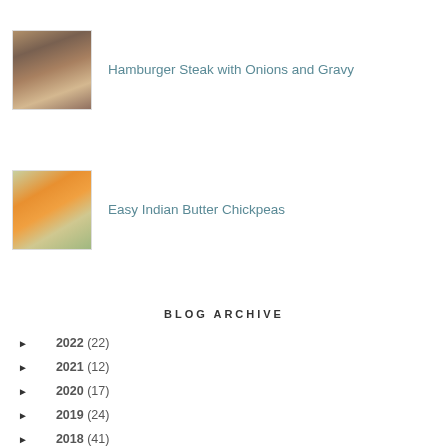[Figure (photo): Hamburger steak patties stacked]
Hamburger Steak with Onions and Gravy
[Figure (photo): Indian butter chickpeas with rice in bowls]
Easy Indian Butter Chickpeas
BLOG ARCHIVE
► 2022 (22)
► 2021 (12)
► 2020 (17)
► 2019 (24)
► 2018 (41)
► 2017 (95)